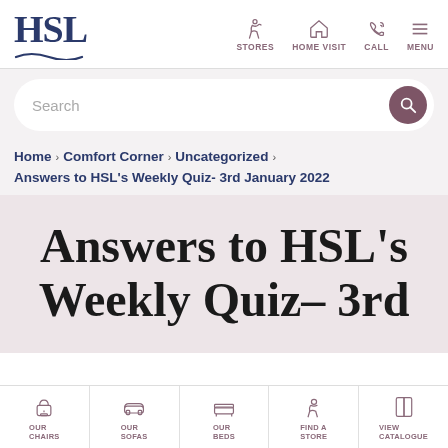HSL | STORES | HOME VISIT | CALL | MENU
Search
Home > Comfort Corner > Uncategorized >
Answers to HSL's Weekly Quiz- 3rd January 2022
Answers to HSL's Weekly Quiz– 3rd
OUR CHAIRS | OUR SOFAS | OUR BEDS | FIND A STORE | VIEW CATALOGUE